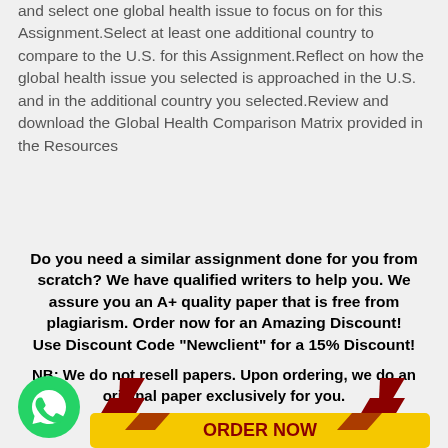and select one global health issue to focus on for this Assignment.Select at least one additional country to compare to the U.S. for this Assignment.Reflect on how the global health issue you selected is approached in the U.S. and in the additional country you selected.Review and download the Global Health Comparison Matrix provided in the Resources
Do you need a similar assignment done for you from scratch? We have qualified writers to help you. We assure you an A+ quality paper that is free from plagiarism. Order now for an Amazing Discount! Use Discount Code "Newclient" for a 15% Discount!
NB: We do not resell papers. Upon ordering, we do an original paper exclusively for you.
[Figure (illustration): WhatsApp logo (green circle with white phone icon) and a yellow ORDER NOW button with dark red downward arrows on top]